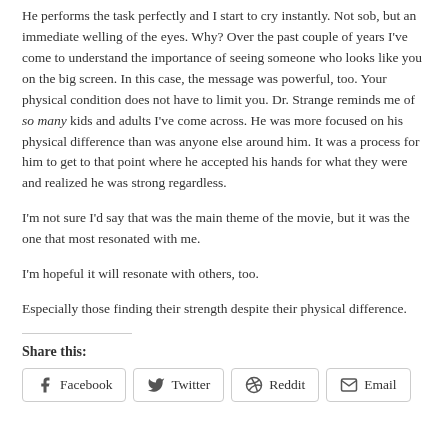He performs the task perfectly and I start to cry instantly. Not sob, but an immediate welling of the eyes. Why? Over the past couple of years I've come to understand the importance of seeing someone who looks like you on the big screen. In this case, the message was powerful, too. Your physical condition does not have to limit you. Dr. Strange reminds me of so many kids and adults I've come across. He was more focused on his physical difference than was anyone else around him. It was a process for him to get to that point where he accepted his hands for what they were and realized he was strong regardless.
I'm not sure I'd say that was the main theme of the movie, but it was the one that most resonated with me.
I'm hopeful it will resonate with others, too.
Especially those finding their strength despite their physical difference.
Share this:
Facebook | Twitter | Reddit | Email